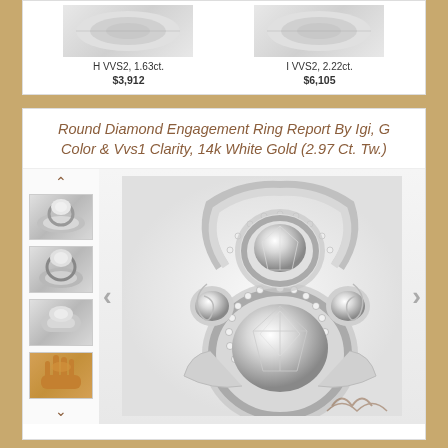[Figure (photo): Two diamond ring product thumbnails at top of page - partial view. Left: H VVS2 1.63ct ring. Right: I VVS2 2.22ct ring.]
H VVS2, 1.63ct.
$3,912
I VVS2, 2.22ct.
$6,105
Round Diamond Engagement Ring Report By Igi, G Color & Vvs1 Clarity, 14k White Gold (2.97 Ct. Tw.)
[Figure (photo): Large main product image showing a round diamond engagement ring in 14k white gold with halo setting and three-stone design, multiple small diamonds on band. Two angle views shown. Four thumbnail images on left sidebar showing different angles including a hand model view. Navigation arrows on sides.]